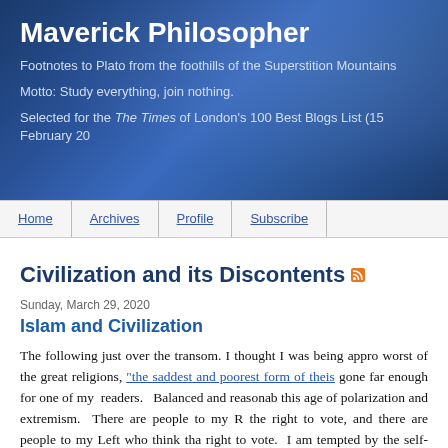Maverick Philosopher
Footnotes to Plato from the foothills of the Superstition Mountains
Motto: Study everything, join nothing.
Selected for the The Times of London's 100 Best Blogs List (15 February 20
Civilization and its Discontents
Sunday, March 29, 2020
Islam and Civilization
The following just over the transom. I thought I was being appro worst of the great religions, "the saddest and poorest form of theis gone far enough for one of my readers.  Balanced and reasonab this age of polarization and extremism.  There are people to my R the right to vote, and there are people to my Left who think tha right to vote.  I am tempted by the self-serving thought that I am o